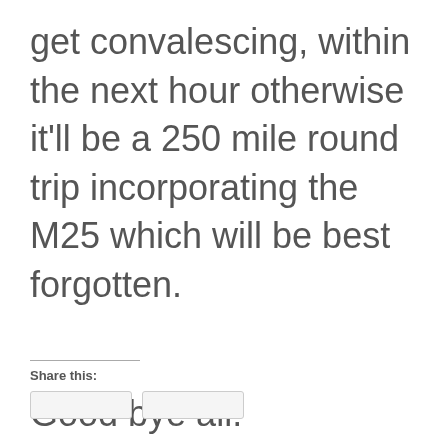get convalescing, within the next hour otherwise it'll be a 250 mile round trip incorporating the M25 which will be best forgotten.
Good bye all.
Share this: